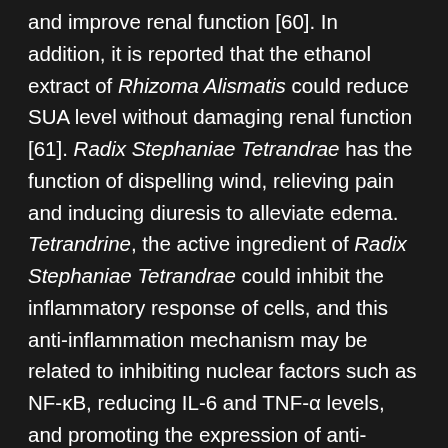and improve renal function [60]. In addition, it is reported that the ethanol extract of Rhizoma Alismatis could reduce SUA level without damaging renal function [61]. Radix Stephaniae Tetrandrae has the function of dispelling wind, relieving pain and inducing diuresis to alleviate edema. Tetrandrine, the active ingredient of Radix Stephaniae Tetrandrae could inhibit the inflammatory response of cells, and this anti-inflammation mechanism may be related to inhibiting nuclear factors such as NF-κB, reducing IL-6 and TNF-α levels, and promoting the expression of anti-inflammatory cytokines such as IL-10 [62]. It is also reported that Radix Achyranthis Bidentatae could increase superoxide dismutase (SOD) activity, reduce serum lipid peroxide level, and regulate immunity and metabolism of the body [63]. Based on the previous study, the anti-inflammation mechanism of Tongfengshu Capsule may be related to inhibiting the anti-inflammatory